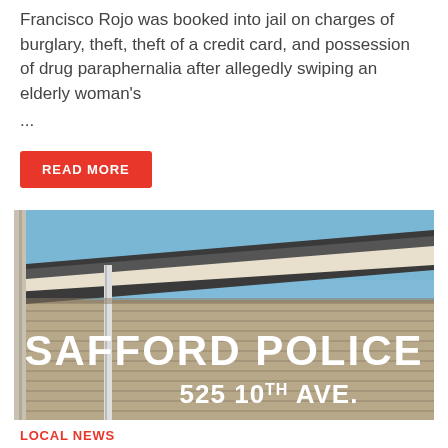Francisco Rojo was booked into jail on charges of burglary, theft, theft of a credit card, and possession of drug paraphernalia after allegedly swiping an elderly woman's
...
READ MORE
[Figure (photo): Exterior of Safford Police building showing brick wall with large white letters reading 'SAFFORD POLICE 525 10TH AVE.' against a blue sky background.]
LOCAL NEWS